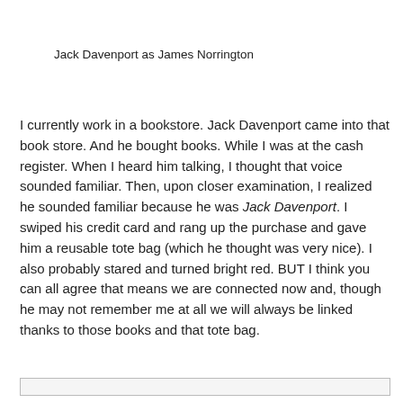Jack Davenport as James Norrington
I currently work in a bookstore. Jack Davenport came into that book store. And he bought books. While I was at the cash register. When I heard him talking, I thought that voice sounded familiar. Then, upon closer examination, I realized he sounded familiar because he was Jack Davenport. I swiped his credit card and rang up the purchase and gave him a reusable tote bag (which he thought was very nice). I also probably stared and turned bright red. BUT I think you can all agree that means we are connected now and, though he may not remember me at all we will always be linked thanks to those books and that tote bag.